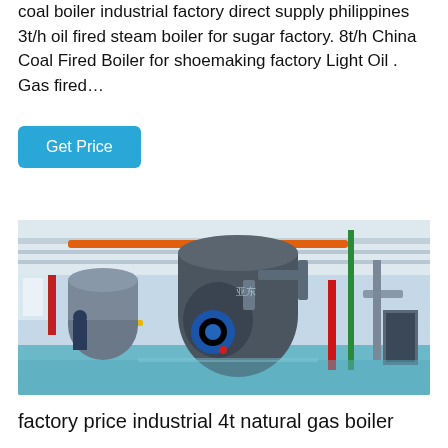coal boiler industrial factory direct supply philippines 3t/h oil fired steam boiler for sugar factory. 8t/h China Coal Fired Boiler for shoemaking factory Light Oil . Gas fired…
Get Price
[Figure (photo): Interior of an industrial boiler room showing large cylindrical boilers with blue and grey casing, yellow pipe supports, orange and red overhead pipes, and blue floor, with a worker visible in the background.]
factory price industrial 4t natural gas boiler